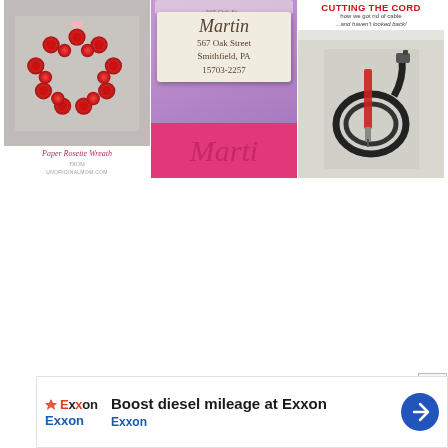[Figure (photo): Collage of three images: (1) Paper Rosette Wreath made of red paper roses on white background with text 'Paper Rosette Wreath from unoriginalmom.com'; (2) Purple wooden address stamp block showing 'Martin 567 Oak Street Smithfield, PA 15703-2257' and pink name cutout below; (3) 'Cutting the Cord - how we got rid of cable ...and haven't looked back!' with image of cable and screwdriver]
[Figure (screenshot): Advertisement banner: Exxon ad with text 'Boost diesel mileage at Exxon' and 'Exxon' subtext, with Exxon logo, navigation arrow icon, and close button (X)]